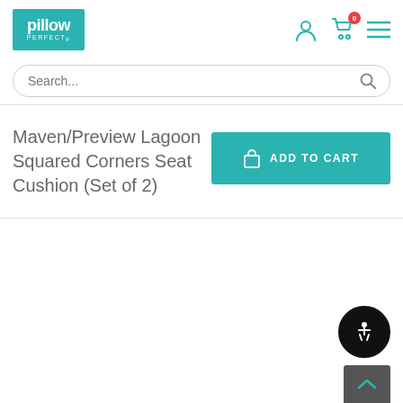[Figure (logo): Pillow Perfect logo — white text on teal background square]
[Figure (infographic): Header icons: user account icon, shopping cart icon with red badge showing 0, hamburger menu icon]
Search...
Maven/Preview Lagoon Squared Corners Seat Cushion (Set of 2)
[Figure (infographic): ADD TO CART button in teal with shopping bag icon]
[Figure (infographic): Accessibility icon button — person in wheelchair, white icon on black circle background]
[Figure (infographic): Scroll-to-top button — teal chevron up arrow on dark grey background]